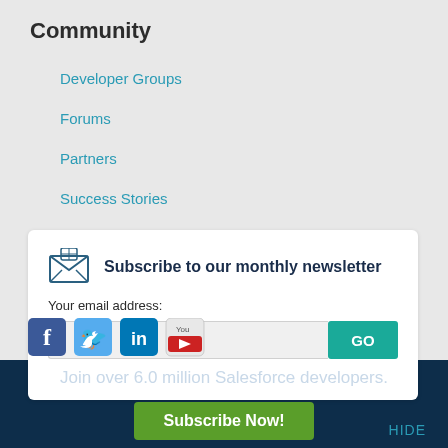Community
Developer Groups
Forums
Partners
Success Stories
Subscribe to our monthly newsletter
Your email address:
[Figure (infographic): Email input field and GO button for newsletter subscription]
[Figure (infographic): Social media icons: Facebook, Twitter, LinkedIn, YouTube]
Join over 6.0 million Salesforce developers.
Subscribe Now!
HIDE